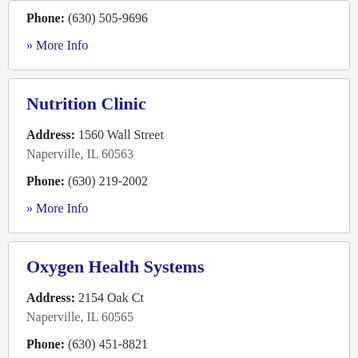Phone: (630) 505-9696
» More Info
Nutrition Clinic
Address: 1560 Wall Street Naperville, IL 60563
Phone: (630) 219-2002
» More Info
Oxygen Health Systems
Address: 2154 Oak Ct Naperville, IL 60565
Phone: (630) 451-8821
» More Info